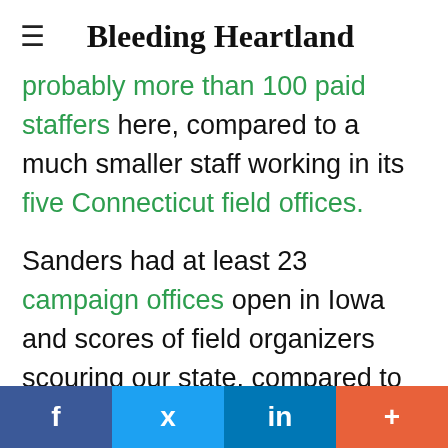Bleeding Heartland
probably more than 100 paid staffers here, compared to a much smaller staff working in its five Connecticut field offices.
Sanders had at least 23 campaign offices open in Iowa and scores of field organizers scouring our state, compared to one campaign office and a handful of staffers in Connecticut.
Even Martin O'Malley's campaign had three [field offices...] (truncated)